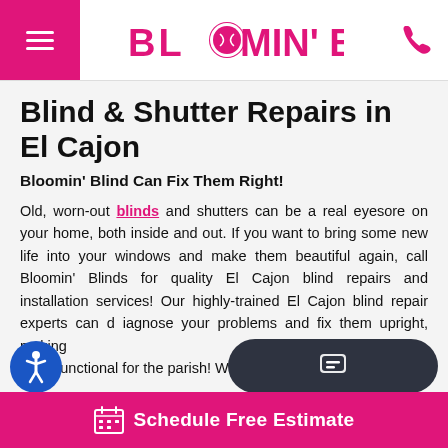Bloomin' Blinds
Blind & Shutter Repairs in El Cajon
Bloomin' Blind Can Fix Them Right!
Old, worn-out blinds and shutters can be a real eyesore on your home, both inside and out. If you want to bring some new life into your windows and make them beautiful again, call Bloomin' Blinds for quality El Cajon blind repairs and installation services! Our highly-trained El Cajon blind repair experts can diagnose your and fix them upright, making them functional for the parish! We can off
Schedule Free Estimate